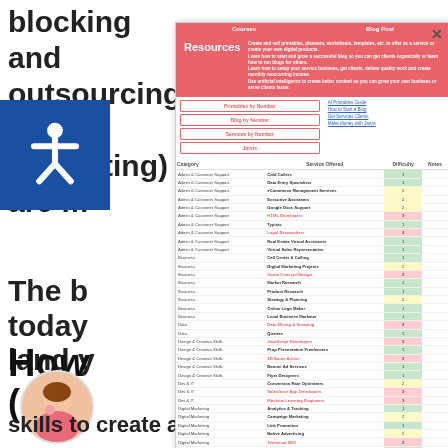blocking and outsourcing (or delegating) are m
The b today land y
How
(Ov
skills to create a list of services you are
| Category | Service Offered | Difficulty | Notes |
| --- | --- | --- | --- |
| Admin & Customer Support | Cold Callers | 1 |  |
| Admin & Customer Support | Data Entry Specialists | 1 |  |
| Admin & Customer Support | eCommerce Management Services | 2 |  |
| Admin & Customer Support | Executive Assistants | 2 |  |
| Admin & Customer Support | Google Docs Support | 2 |  |
| Admin & Customer Support | HTML Developers | 3 |  |
| Admin & Customer Support | Typists | 1 |  |
| Admin & Customer Support | Legal Researchers | 3 |  |
| Admin & Customer Support | Real Estate Virtual Assistants | 1 |  |
| Admin & Customer Support | Virtual Sales Representative | 1 |  |
| Business | Call Center & Calling | 1 |  |
| Business | Digital Marketing Projects | 2 |  |
| Business | Game Concept Design | 3 |  |
| Business | Market Research | 1 |  |
| Business | Product Research | 1 |  |
| Business | Strategy & Planning | 2 |  |
| Business | Online Logo Maker | 1 |  |
| Business | Local Business Marketer | 1 |  |
| Data | Data Mining & Scraping | 3 |  |
| Data | Queries | 1 |  |
| Design & Creative Skills | JavaScript Developers | 3 |  |
| Design & Creative Skills | Prop Presentation Freelancers | 1 |  |
| Design & Creative Skills | 3D Game Artists | 3 |  |
| Design & Creative Skills | Banner Ad Services | 1 |  |
| Design & Creative Skills | Flyer Designers | 1 |  |
| Dev & IT | Conversion Rate Optimizers | 2 |  |
| Dev & IT | Salesforce App Developers | 3 |  |
| Dev & IT | Machine Learning Engineers | 3 |  |
| Digital Marketing | Analytics & Tracking | 1 |  |
| Digital Marketing | Campaign Marketing | 2 |  |
| Digital Marketing | Link Promotion | 1 |  |
| Digital Marketing | Native Advertising | 2 |  |
| Digital Marketing | Technical SEO | 3 |  |
| Graphics & Design | Catalog Design | 1 |  |
| Graphics & Design | Industrial & Product Design | 3 |  |
| Graphics & Design | Prototyping & 3D Printing | 2 |  |
| Lifestyle | Makeup Consultants | 1 |  |
| Music & Audio | Beats | 1 |  |
| Music & Audio | Remixing & Mashups | 2 |  |
| Music & Audio | Video Games | 2 |  |
| Programming & Tech | App Customization | 3 |  |
| Programming & Tech | Browser Extensions | 2 |  |
| Programming & Tech | Convert to a Fillable Form | 1 |  |
| Programming & Tech | Design Review | 2 |  |
| Programming & Tech | Security | 2 |  |
| Sales & Marketing Skills | Bot Developers | 3 |  |